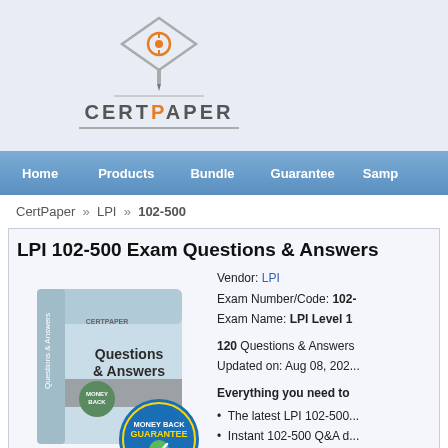[Figure (logo): CertPaper logo with diamond/target icon above text CERTPAPER where P is orange]
Home   Products   Bundle   Guarantee   Samp...
CertPaper » LPI » 102-500
LPI 102-500 Exam Questions & Answers
[Figure (photo): CertPaper product box showing Questions & Answers with money back guarantee seal]
Vendor: LPI
Exam Number/Code: 102-...
Exam Name: LPI Level 1...
120 Questions & Answers
Updated on: Aug 08, 202...
Everything you need to...
The latest LPI 102-500...
Instant 102-500 Q&A d...
Always up to date, upd... weekly